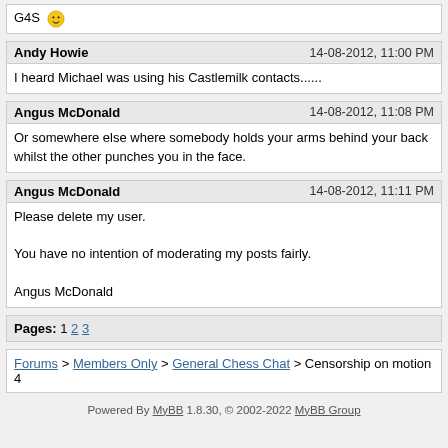G4S 😁
Andy Howie    14-08-2012, 11:00 PM
I heard Michael was using his Castlemilk contacts......
Angus McDonald    14-08-2012, 11:08 PM
Or somewhere else where somebody holds your arms behind your back whilst the other punches you in the face.
Angus McDonald    14-08-2012, 11:11 PM
Please delete my user.

You have no intention of moderating my posts fairly.

Angus McDonald
Pages: 1 2 3
Forums > Members Only > General Chess Chat > Censorship on motion 4
Powered By MyBB 1.8.30, © 2002-2022 MyBB Group